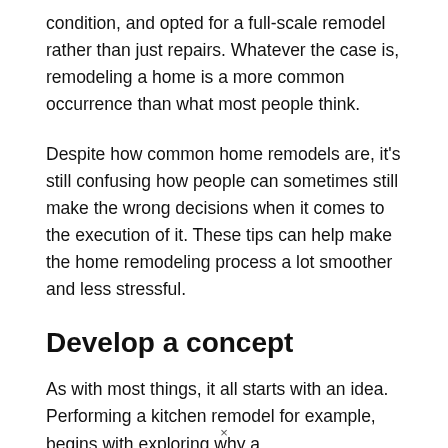condition, and opted for a full-scale remodel rather than just repairs. Whatever the case is, remodeling a home is a more common occurrence than what most people think.
Despite how common home remodels are, it's still confusing how people can sometimes still make the wrong decisions when it comes to the execution of it. These tips can help make the home remodeling process a lot smoother and less stressful.
Develop a concept
As with most things, it all starts with an idea. Performing a kitchen remodel for example, begins with exploring why a
×